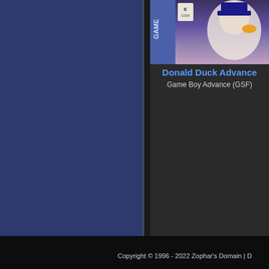[Figure (screenshot): Partial game catalog webpage showing two Game Boy Advance titles. Left panel is dark blue navigation area. Right panel shows dark background with game entries. Top right shows a partial game cartridge image for Donald Duck Advance. Below it shows title 'Donald Duck Advance' in blue with 'Game Boy Advance (GSF)' in gray. Further down shows 'Bouken-Ou Beet - Buster Road' in blue with 'Game Boy Advance (GSF)' in gray.]
Donald Duck Advance
Game Boy Advance (GSF)
Bouken-Ou Beet - Buster Road
Game Boy Advance (GSF)
Copyright © 1996 - 2022 Zophar's Domain | D